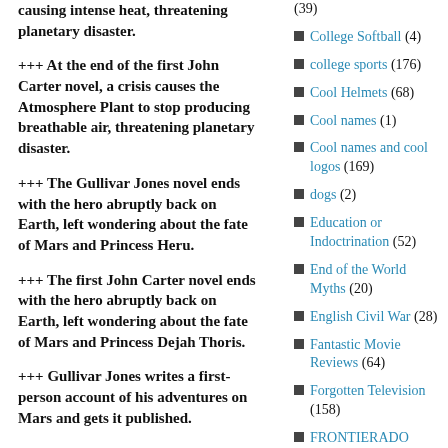+++ causing intense heat, threatening planetary disaster.
+++ At the end of the first John Carter novel, a crisis causes the Atmosphere Plant to stop producing breathable air, threatening planetary disaster.
+++ The Gullivar Jones novel ends with the hero abruptly back on Earth, left wondering about the fate of Mars and Princess Heru.
+++ The first John Carter novel ends with the hero abruptly back on Earth, left wondering about the fate of Mars and Princess Dejah Thoris.
+++ Gullivar Jones writes a first-person account of his adventures on Mars and gets it published.
(39)
College Softball (4)
college sports (176)
Cool Helmets (68)
Cool names (1)
Cool names and cool logos (169)
dogs (2)
Education or Indoctrination (52)
End of the World Myths (20)
English Civil War (28)
Fantastic Movie Reviews (64)
Forgotten Television (158)
FRONTIERADO